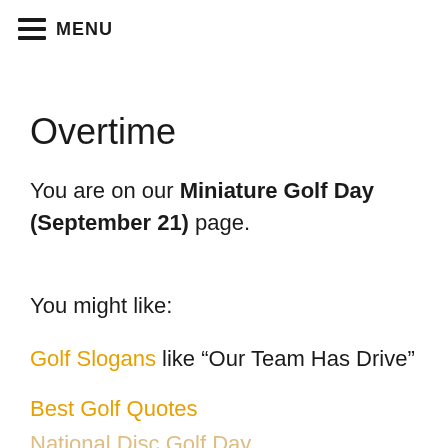☰ MENU
Overtime
You are on our Miniature Golf Day (September 21) page.
You might like:
Golf Slogans like “Our Team Has Drive”
Best Golf Quotes
National Disc Golf Day